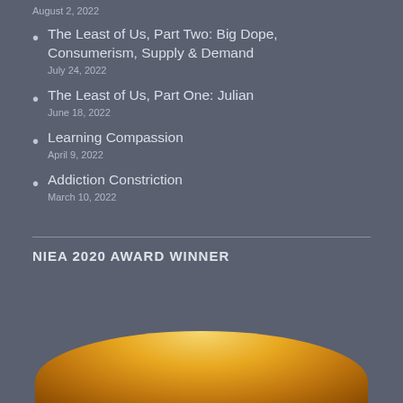August 2, 2022
The Least of Us, Part Two: Big Dope, Consumerism, Supply & Demand
July 24, 2022
The Least of Us, Part One: Julian
June 18, 2022
Learning Compassion
April 9, 2022
Addiction Constriction
March 10, 2022
NIEA 2020 AWARD WINNER
[Figure (photo): Gold medal award image, partially visible at the bottom of the page]